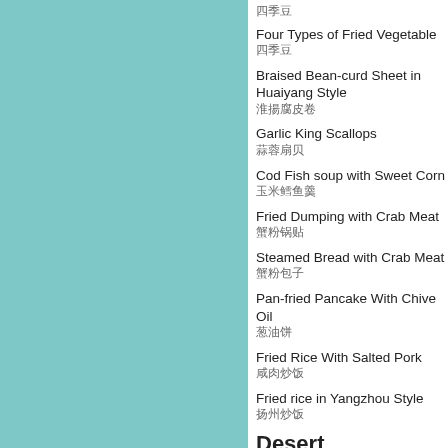四季豆
Four Types of Fried Vegetable
四季豆
Braised Bean-curd Sheet in Huaiyang Style
淮揚腐皮卷
Garlic King Scallops
蒜蓉扇贝
Cod Fish soup with Sweet Corn
玉米鳕鱼羹
Fried Dumping with Crab Meat
蟹粉锅贴
Steamed Bread with Crab Meat
蟹粉包子
Pan-fried Pancake With Chive Oil
葱油饼
Fried Rice With Salted Pork
咸肉炒饭
Fried rice in Yangzhou Style
扬州炒饭
Desert